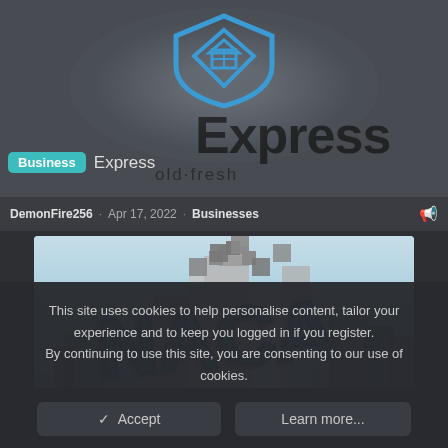[Figure (screenshot): Top portion of a forum/website showing a shield logo with house icon in blue, large dark text 'Express' overlaid, and partial watermark text underneath. Dark gray background with oval shadow behind logo.]
Business Express
DemonFire256 · Apr 17, 2022 · Businesses
[Figure (screenshot): A Roblox game screenshot with light blue background and pixelated gray/dark city building blocks with the letters 'NACA' written in stylized blue and dark gray brush script over them.]
This site uses cookies to help personalise content, tailor your experience and to keep you logged in if you register.
By continuing to use this site, you are consenting to our use of cookies.
✓ Accept
Learn more...